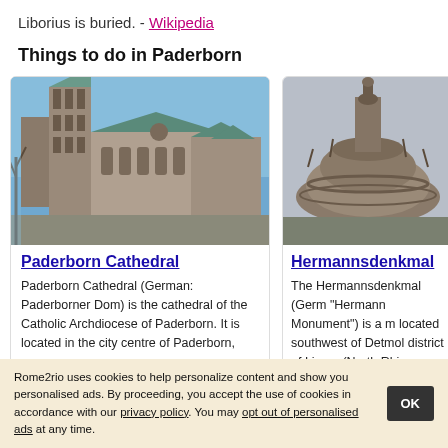Liborius is buried. - Wikipedia
Things to do in Paderborn
[Figure (photo): Photo of Paderborn Cathedral showing Gothic architecture with green copper roofs and towers against a blue sky]
Paderborn Cathedral
Paderborn Cathedral (German: Paderborner Dom) is the cathedral of the Catholic Archdiocese of Paderborn. It is located in the city centre of Paderborn,
[Figure (photo): Photo of Hermannsdenkmal showing the top of a stone monument with a statue against a grey sky]
Hermannsdenkmal
The Hermannsdenkmal (Germ... "Hermann Monument") is a m... located southwest of Detmol... district of Lippe, (North Rhine...
Rome2rio uses cookies to help personalize content and show you personalised ads. By proceeding, you accept the use of cookies in accordance with our privacy policy. You may opt out of personalised ads at any time.